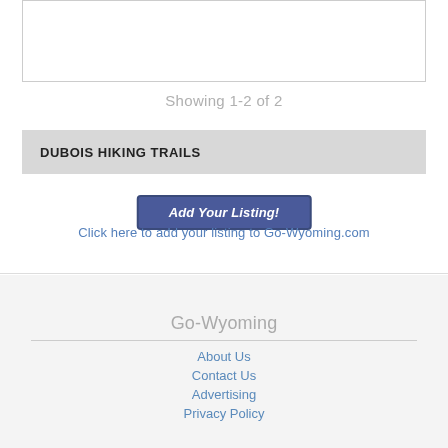Showing 1-2 of 2
DUBOIS HIKING TRAILS
Add Your Listing!
Click here to add your listing to Go-Wyoming.com
Go-Wyoming
About Us
Contact Us
Advertising
Privacy Policy